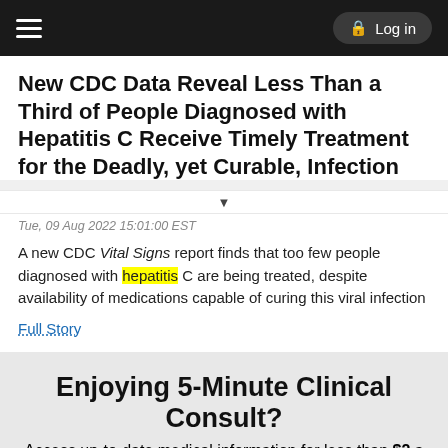Log in
New CDC Data Reveal Less Than a Third of People Diagnosed with Hepatitis C Receive Timely Treatment for the Deadly, yet Curable, Infection
Tue, 09 Aug 2022 15:01:00 EST
A new CDC Vital Signs report finds that too few people diagnosed with hepatitis C are being treated, despite availability of medications capable of curing this viral infection
Full Story
Enjoying 5-Minute Clinical Consult?
Access up-to-date medical information for less than $2 a week
Purchase a subscription
I'm already a subscriber